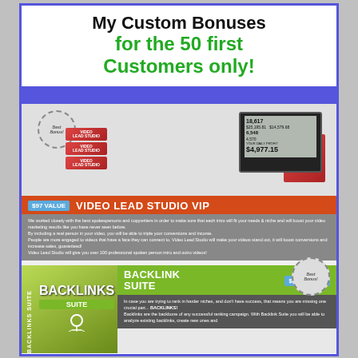My Custom Bonuses for the 50 first Customers only!
[Figure (illustration): Video Lead Studio VIP product box with monitor showing earnings stats ($4,977.15 daily profit), multiple product boxes labeled VIDEO LEAD STUDIO. Orange banner with $97 VALUE badge.]
We worked closely with the best spokespersons and copywriters in order to make sure that each intro will fit your needs & niche and will boost your video marketing results like you have never seen before. By including a real person in your video, you will be able to triple your conversions and income. People are more engaged to videos that have a face they can connect to. Video Lead Studio will make your videos stand out, it will boost conversions and increase sales, guaranteed! Video Lead Studio will give you over 100 professional spoken person intro and outro videos!
[Figure (illustration): Backlink Suite product box with green color scheme and network icon. Green banner with $127 VALUE badge.]
In case you are trying to rank in harder niches, and don't have success, that means you are missing one crucial part... BACKLINKS! Backlinks are the backbone of any successful ranking campaign. With Backlink Suite you will be able to analyze existing backlinks, create new ones and